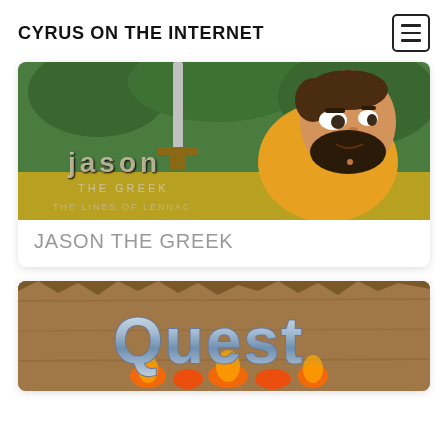CYRUS ON THE INTERNET
[Figure (illustration): Animated cartoon image showing Jason the Greek character holding a sword, with 'JASON THE GREEK - THE LINES OF LENNAC' text overlay on a green forest background]
JASON THE GREEK
[Figure (logo): Quest logo with metallic letters on fire and wooden plank background]